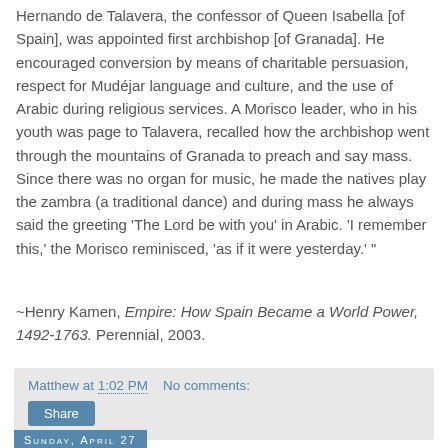Hernando de Talavera, the confessor of Queen Isabella [of Spain], was appointed first archbishop [of Granada]. He encouraged conversion by means of charitable persuasion, respect for Mudéjar language and culture, and the use of Arabic during religious services. A Morisco leader, who in his youth was page to Talavera, recalled how the archbishop went through the mountains of Granada to preach and say mass. Since there was no organ for music, he made the natives play the zambra (a traditional dance) and during mass he always said the greeting 'The Lord be with you' in Arabic. 'I remember this,' the Morisco reminisced, 'as if it were yesterday.' "
~Henry Kamen, Empire: How Spain Became a World Power, 1492-1763. Perennial, 2003.
Matthew at 1:02 PM    No comments:
Share
Sunday, April 27